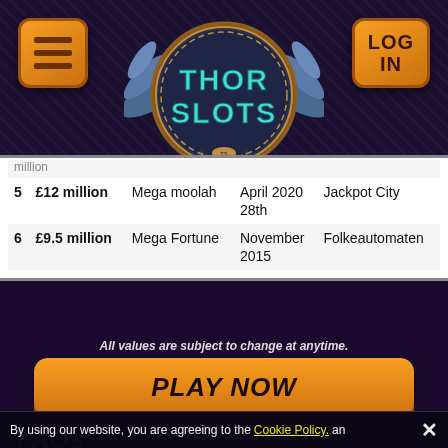[Figure (logo): Thor Slots casino logo with Norse-themed design, gold and teal typography on a circular medallion with wings]
|  | million |  |  |  |
| 5 | £12 million | Mega moolah | April 2020 28th | Jackpot City |
| 6 | £9.5 million | Mega Fortune | November 2015 | Folkeautomaten |
All values are subject to change at anytime.
PLAY NOW
FAQs
The online casino world is famous for its wide range of games, bonuses and an impressive payout. We have compiled a few questions
By using our website, you are agreeing to the Cookie Policy.